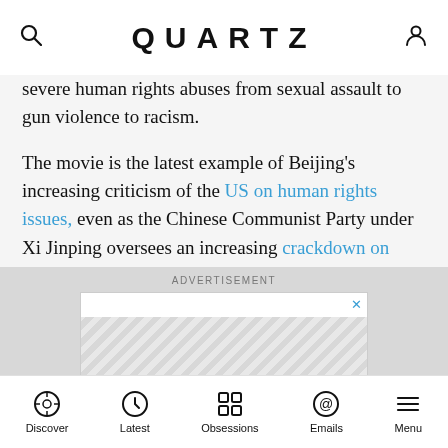QUARTZ
severe human rights abuses from sexual assault to gun violence to racism.
The movie is the latest example of Beijing's increasing criticism of the US on human rights issues, even as the Chinese Communist Party under Xi Jinping oversees an increasing crackdown on human rights lawyers, free speech, and the rule of law in China. The documentary, titled The Human Rights Record of the “Human Rights Defender,” was also posted on YouTube, which is blocked in China.
ADVERTISEMENT
Discover | Latest | Obsessions | Emails | Menu